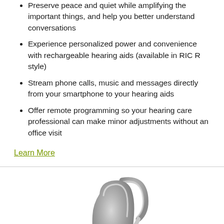Preserve peace and quiet while amplifying the important things, and help you better understand conversations
Experience personalized power and convenience with rechargeable hearing aids (available in RIC R style)
Stream phone calls, music and messages directly from your smartphone to your hearing aids
Offer remote programming so your hearing care professional can make minor adjustments without an office visit
Learn More
[Figure (photo): A silver behind-the-ear (BTE) hearing aid photographed on a white background, showing the curved body and ear hook.]